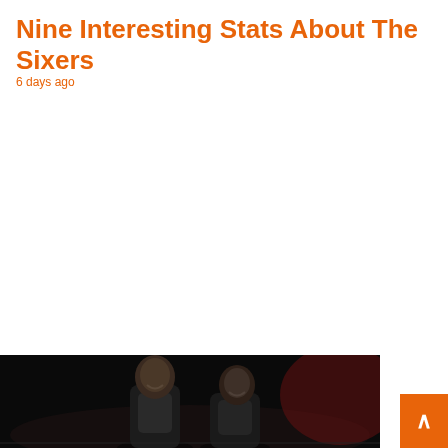Nine Interesting Stats About The Sixers
6 days ago
[Figure (photo): Two Philadelphia Sixers basketball players smiling together on a dark court background]